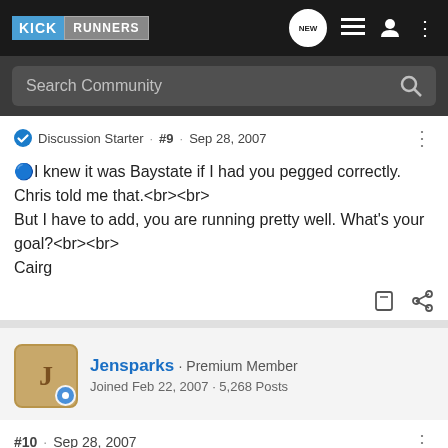[Figure (screenshot): Kick Runners forum navigation bar with logo and icons]
[Figure (screenshot): Search Community input bar]
Discussion Starter · #9 · Sep 28, 2007
🔵I knew it was Baystate if I had you pegged correctly. Chris told me that.<br><br>
But I have to add, you are running pretty well. What's your goal?<br><br>
Cairg
Jensparks · Premium Member
Joined Feb 22, 2007 · 5,268 Posts
#10 · Sep 28, 2007